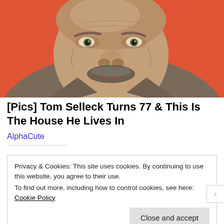[Figure (photo): Close-up photo of an older man with a grey mustache wearing a grey/brown jacket, against an orange/red background]
[Pics] Tom Selleck Turns 77 & This Is The House He Lives In
AlphaCute
Privacy & Cookies: This site uses cookies. By continuing to use this website, you agree to their use.
To find out more, including how to control cookies, see here: Cookie Policy
Close and accept